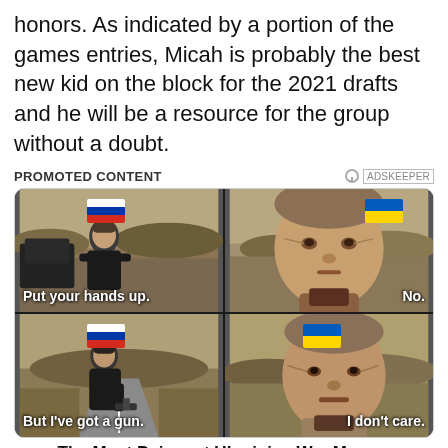honors. As indicated by a portion of the games entries, Micah is probably the best new kid on the block for the 2021 drafts and he will be a resource for the group without a doubt.
PROMOTED CONTENT
[Figure (photo): A 4-panel meme image showing two actors from a movie scene. Top-left panel: a man with a Russian flag emoji on his forehead standing outdoors with text 'Put your hands up.' Top-right panel: another man with a Ukrainian flag emoji on his forehead with text 'No.' Bottom-left panel: the first man again with Russian flag emoji and a gun with text 'But I've got a gun.' Bottom-right panel: the second man with Ukrainian flag emoji and text 'I don't care.']
The Most Poignant Ukrainian War Memes